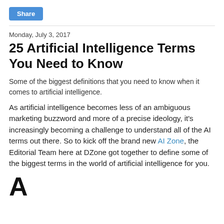Share
Monday, July 3, 2017
25 Artificial Intelligence Terms You Need to Know
Some of the biggest definitions that you need to know when it comes to artificial intelligence.
As artificial intelligence becomes less of an ambiguous marketing buzzword and more of a precise ideology, it's increasingly becoming a challenge to understand all of the AI terms out there. So to kick off the brand new AI Zone, the Editorial Team here at DZone got together to define some of the biggest terms in the world of artificial intelligence for you.
A